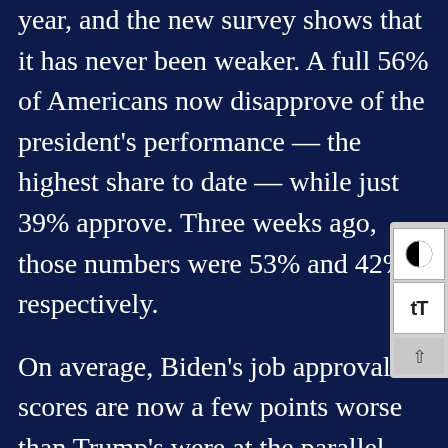year, and the new survey shows that it has never been weaker. A full 56% of Americans now disapprove of the president's performance — the highest share to date — while just 39% approve. Three weeks ago, those numbers were 53% and 42%, respectively.
On average, Biden's job approval scores are now a few points worse than Trump's were at the parallel stage of his presidency.
Among all Americans, Trump (43%)